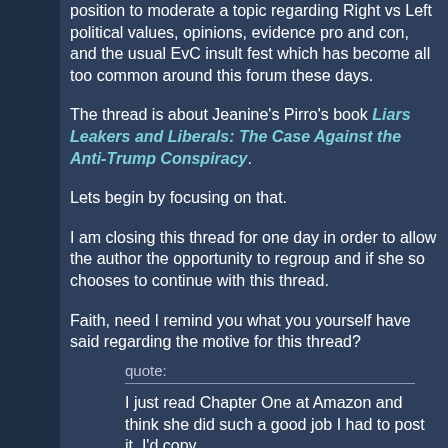position to moderate a topic regarding Right vs Left political values, opinions, evidence pro and con, and the usual EvC insult fest which has become all too common around this forum these days.
The thread is about Jeanine's Pirro's book Liars Leakers and Liberals: The Case Against the Anti-Trump Conspiracy.
Lets begin by focusing on that.
I am closing this thread for one day in order to allow the author the opportunity to regroup and if she so chooses to continue with this thread.
Faith, need I remind you what you yourself have said regarding the motive for this thread?
quote:
I just read Chapter One at Amazon and think she did such a good job I had to post it. I'd copy